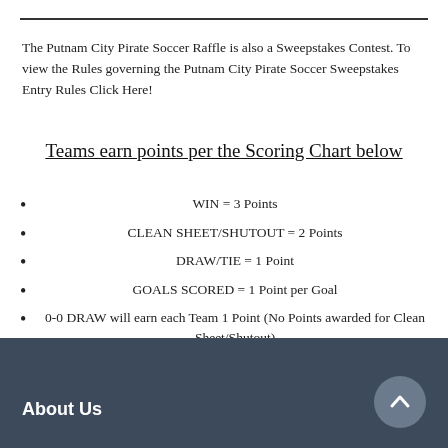The Putnam City Pirate Soccer Raffle is also a Sweepstakes Contest.  To view the Rules governing the Putnam City Pirate Soccer Sweepstakes Entry Rules Click Here!
Teams earn points per the Scoring Chart below
WIN = 3 Points
CLEAN SHEET/SHUTOUT = 2 Points
DRAW/TIE = 1 Point
GOALS SCORED = 1 Point per Goal
0-0 DRAW will earn each Team 1 Point (No Points awarded for Clean Sheet/Shutout)
About Us